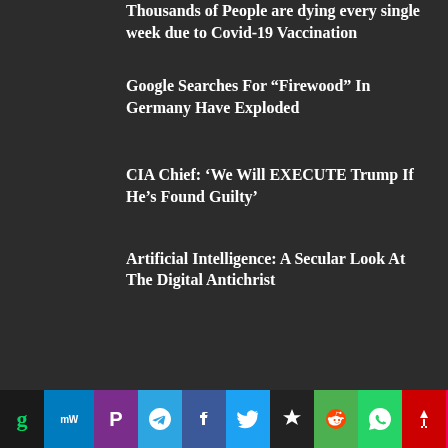Thousands of People are dying every single week due to Covid-19 Vaccination
Google Searches For “Firewood” In Germany Have Exploded
CIA Chief: ‘We Will EXECUTE Trump If He’s Found Guilty’
Artificial Intelligence: A Secular Look At The Digital Antichrist
[Figure (other): Social media sharing bar with icons for Gab, MeWe, Parler, Telegram, Facebook, Twitter, Steem, Reddit, WhatsApp, Gab2, and Tumblr]